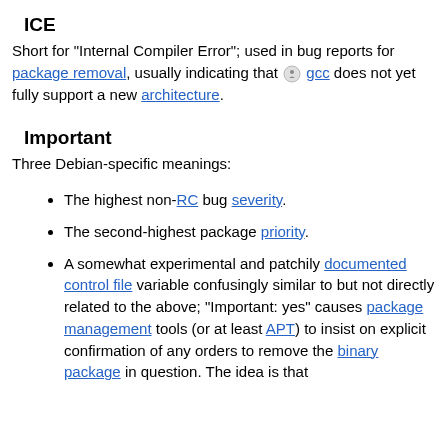ICE
Short for "Internal Compiler Error"; used in bug reports for package removal, usually indicating that gcc does not yet fully support a new architecture.
Important
Three Debian-specific meanings:
The highest non-RC bug severity.
The second-highest package priority.
A somewhat experimental and patchily documented control file variable confusingly similar to but not directly related to the above; "Important: yes" causes package management tools (or at least APT) to insist on explicit confirmation of any orders to remove the binary package in question. The idea is that